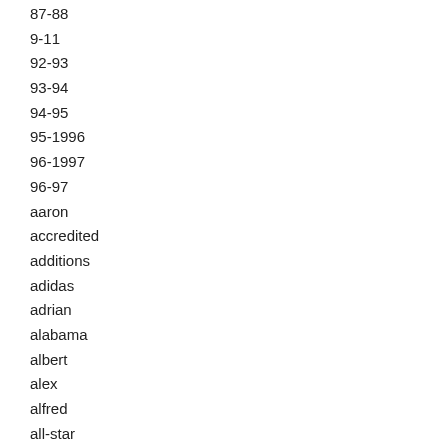87-88
9-11
92-93
93-94
94-95
95-1996
96-1997
96-97
aaron
accredited
additions
adidas
adrian
alabama
albert
alex
alfred
all-star
all-time
allen
alonzo